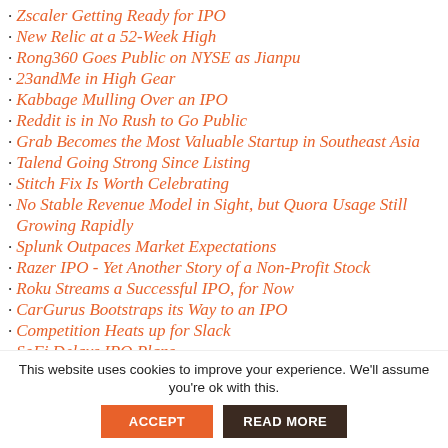Zscaler Getting Ready for IPO
New Relic at a 52-Week High
Rong360 Goes Public on NYSE as Jianpu
23andMe in High Gear
Kabbage Mulling Over an IPO
Reddit is in No Rush to Go Public
Grab Becomes the Most Valuable Startup in Southeast Asia
Talend Going Strong Since Listing
Stitch Fix Is Worth Celebrating
No Stable Revenue Model in Sight, but Quora Usage Still Growing Rapidly
Splunk Outpaces Market Expectations
Razer IPO - Yet Another Story of a Non-Profit Stock
Roku Streams a Successful IPO, for Now
CarGurus Bootstraps its Way to an IPO
Competition Heats up for Slack
SoFi Delays IPO Plans
Improbable Joins the Club
This website uses cookies to improve your experience. We'll assume you're ok with this.
ACCEPT
READ MORE